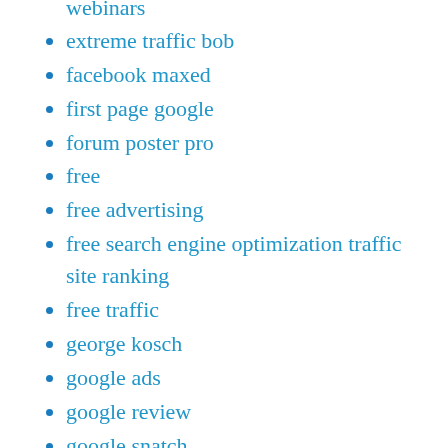webinars
extreme traffic bob
facebook maxed
first page google
forum poster pro
free
free advertising
free search engine optimization traffic site ranking
free traffic
george kosch
google ads
google review
google snatch
google sniper
google terminator
google traffic